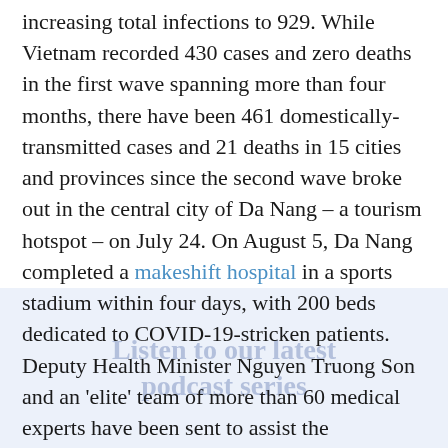increasing total infections to 929. While Vietnam recorded 430 cases and zero deaths in the first wave spanning more than four months, there have been 461 domestically-transmitted cases and 21 deaths in 15 cities and provinces since the second wave broke out in the central city of Da Nang – a tourism hotspot – on July 24. On August 5, Da Nang completed a makeshift hospital in a sports stadium within four days, with 200 beds dedicated to COVID-19-stricken patients. Deputy Health Minister Nguyen Truong Son and an 'elite' team of more than 60 medical experts have been sent to assist the containment efforts in Da Nang.
A different approach . . .
Vietnam has been taking a different approach to the second wave, implementing targeted lockdowns over particular